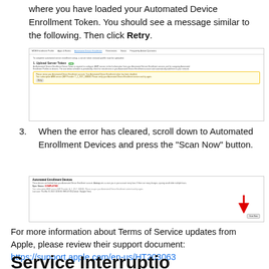where you have loaded your Automated Device Enrollment Token. You should see a message similar to the following. Then click Retry.
[Figure (screenshot): Screenshot of MDM Enrollment Profile page showing Upload Server Token section with a yellow warning box indicating the Automated Device Enrollment token has been disabled, with a Retry button.]
3. When the error has cleared, scroll down to Automated Enrollment Devices and press the "Scan Now" button.
[Figure (screenshot): Screenshot of Automated Enrollment Devices section showing Sync Status: COMPLETED with a red arrow pointing to a Scan Now button.]
For more information about Terms of Service updates from Apple, please review their support document: https://support.apple.com/en-us/HT203063
Service Interruption